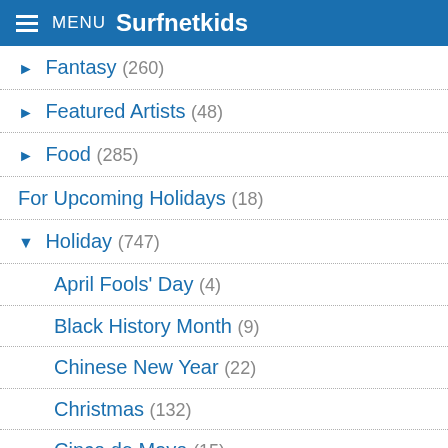MENU Surfnetkids
Fantasy (260)
Featured Artists (48)
Food (285)
For Upcoming Holidays (18)
Holiday (747)
April Fools' Day (4)
Black History Month (9)
Chinese New Year (22)
Christmas (132)
Cinco de Mayo (15)
Day of the Dead (29)
Earth Day (13)
Easter (54)
Father's Day (21)